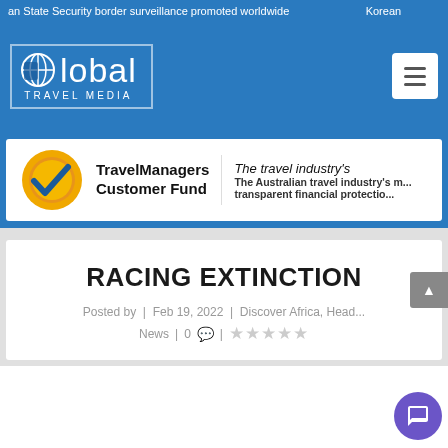an State Security border surveillance promoted worldwide   Korean
[Figure (logo): Global Travel Media logo in white text inside a border box on blue background]
[Figure (logo): TravelManagers Customer Fund logo with circular checkmark icon, text: The travel industry's — The Australian travel industry's m... transparent financial protectio...]
RACING EXTINCTION
Posted by | Feb 19, 2022 | Discover Africa, Head... News | 0 ☰ | ★★★★★